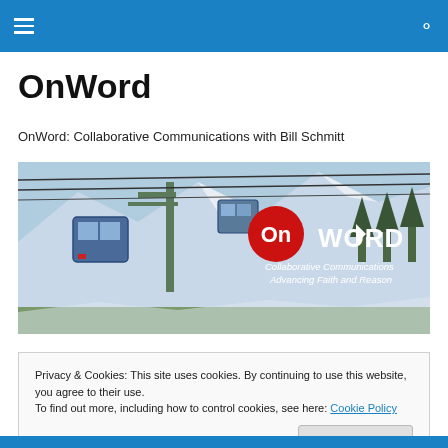OnWord – navigation bar with menu and search icons
OnWord
OnWord: Collaborative Communications with Bill Schmitt
[Figure (photo): Banner image showing ski gondola/cable car with snowy mountain background, overlaid with red and white OnWord logo and tagline 'Collaborative Communications Advancing Faith and Reason']
Privacy & Cookies: This site uses cookies. By continuing to use this website, you agree to their use.
To find out more, including how to control cookies, see here: Cookie Policy
[Close and accept button]